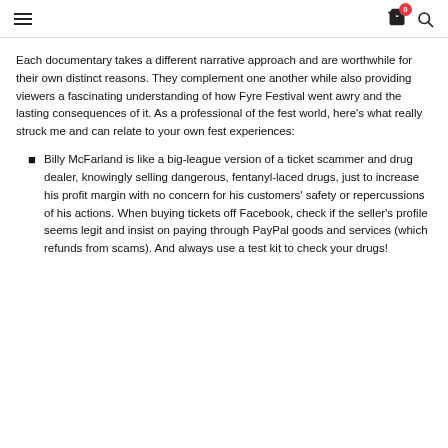Navigation header with hamburger menu, shopping cart icon with badge (0), and search icon
Each documentary takes a different narrative approach and are worthwhile for their own distinct reasons. They complement one another while also providing viewers a fascinating understanding of how Fyre Festival went awry and the lasting consequences of it. As a professional of the fest world, here's what really struck me and can relate to your own fest experiences:
Billy McFarland is like a big-league version of a ticket scammer and drug dealer, knowingly selling dangerous, fentanyl-laced drugs, just to increase his profit margin with no concern for his customers' safety or repercussions of his actions. When buying tickets off Facebook, check if the seller's profile seems legit and insist on paying through PayPal goods and services (which refunds from scams). And always use a test kit to check your drugs!